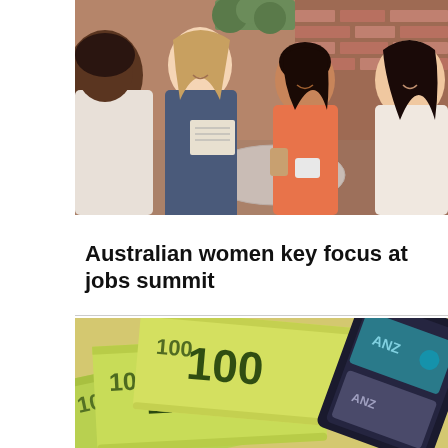[Figure (photo): Four women sitting around a table in a cafe setting, smiling and conversing. The table has drinks on it. Brick wall visible in background.]
Australian women key focus at jobs summit
[Figure (photo): Australian $100 banknotes fanned out next to a black leather wallet with ANZ bank cards visible.]